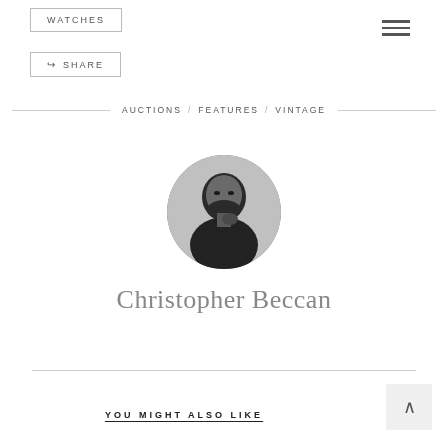WATCHES
SHARE
AUCTIONS / FEATURES / VINTAGE
[Figure (photo): Black and white circular profile photo of Christopher Beccan, a bearded man in a dark jacket]
Christopher Beccan
YOU MIGHT ALSO LIKE